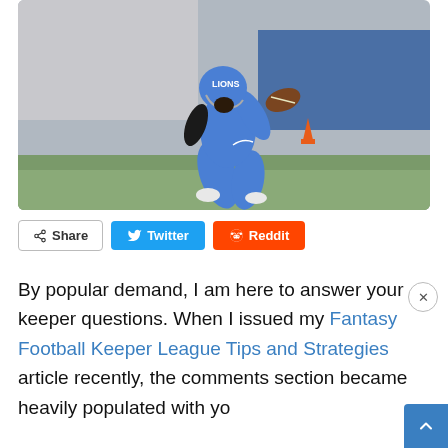[Figure (photo): Detroit Lions running back in blue uniform carrying football, running on field during NFL game]
Share  Twitter  Reddit
By popular demand, I am here to answer your keeper questions. When I issued my Fantasy Football Keeper League Tips and Strategies article recently, the comments section became heavily populated with your questions and so ...